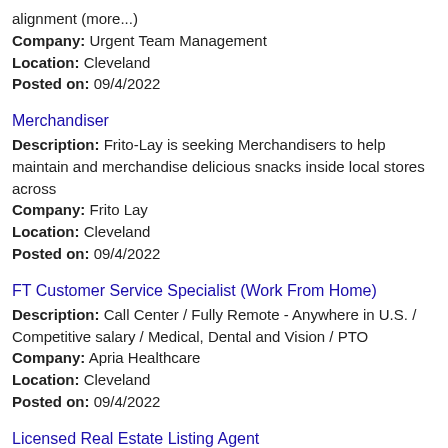alignment (more...)
Company: Urgent Team Management
Location: Cleveland
Posted on: 09/4/2022
Merchandiser
Description: Frito-Lay is seeking Merchandisers to help maintain and merchandise delicious snacks inside local stores across
Company: Frito Lay
Location: Cleveland
Posted on: 09/4/2022
FT Customer Service Specialist (Work From Home)
Description: Call Center / Fully Remote - Anywhere in U.S. / Competitive salary / Medical, Dental and Vision / PTO
Company: Apria Healthcare
Location: Cleveland
Posted on: 09/4/2022
Licensed Real Estate Listing Agent
Description: Who We AreBHHS J Douglas Properties is located steps from Coolidge Park. We are proud to be a part of a fantastic community and strive to provide the best Real Estate experience to all of Chattanooga (more...)